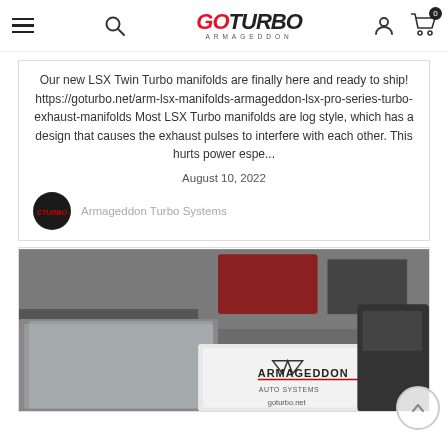GO TURBO ARMAGEDDON
Our new LSX Twin Turbo manifolds are finally here and ready to ship! https://goturbo.net/arm-lsx-manifolds-armageddon-lsx-pro-series-turbo-exhaust-manifolds Most LSX Turbo manifolds are log style, which has a design that causes the exhaust pulses to interfere with each other. This hurts power espe...
August 10, 2022
Armageddon Turbo Systems
[Figure (photo): Photo of Armageddon Turbo Systems branded boxes/packages in a garage or shop setting with the Armageddon logo visible on a white box label and goturbo.net printed below.]